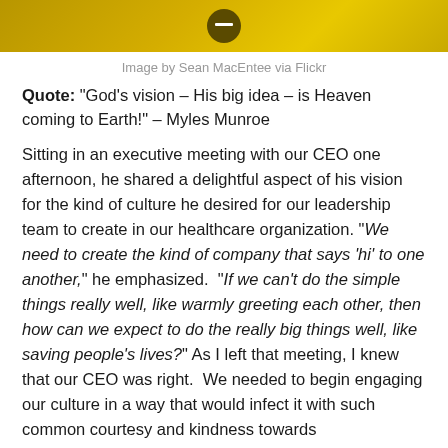[Figure (photo): Partial gold/yellow background image with a circular icon, bottom portion visible]
Image by Sean MacEntee via Flickr
Quote: “God’s vision – His big idea – is Heaven coming to Earth!” – Myles Munroe
Sitting in an executive meeting with our CEO one afternoon, he shared a delightful aspect of his vision for the kind of culture he desired for our leadership team to create in our healthcare organization. “We need to create the kind of company that says ‘hi’ to one another,” he emphasized. “If we can’t do the simple things really well, like warmly greeting each other, then how can we expect to do the really big things well, like saving people’s lives?” As I left that meeting, I knew that our CEO was right. We needed to begin engaging our culture in a way that would infect it with such common courtesy and kindness towards